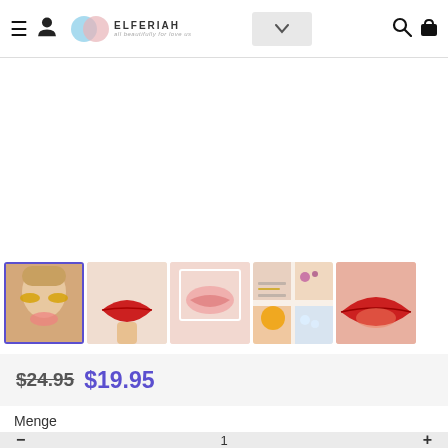ELFERIAH — navigation bar with hamburger, user icon, logo, dropdown, search, cart
[Figure (photo): Main product image area (white/blank in this view)]
[Figure (photo): Thumbnail 1 (selected): Woman with golden eye patches and pink lip mask on face]
[Figure (photo): Thumbnail 2: Hand holding red lip-shaped lip mask]
[Figure (photo): Thumbnail 3: Close-up of lips with pink lip mask patch]
[Figure (photo): Thumbnail 4: Product ingredients collage — fruits and berries]
[Figure (photo): Thumbnail 5: Close-up of red lip mask product]
$24.95 $19.95
Menge
— 1 +